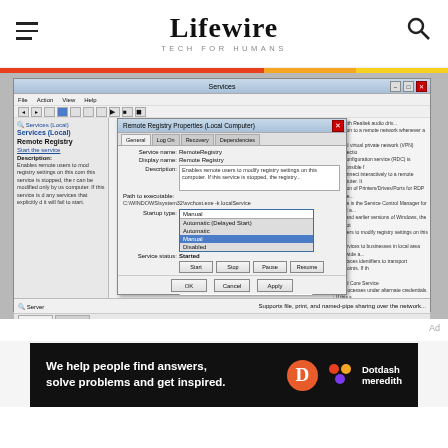Lifewire — TECH FOR HUMANS
[Figure (screenshot): Windows Services window showing Remote Registry Properties (Local Computer) dialog with startup type dropdown open, showing options: Automatic (Delayed Start), Automatic, Manual (highlighted), Disabled. Service status shown as Started. OK, Cancel, Apply buttons at bottom.]
[Figure (infographic): Dotdash Meredith advertisement banner: 'We help people find answers, solve problems and get inspired.' with Dotdash Meredith logo]